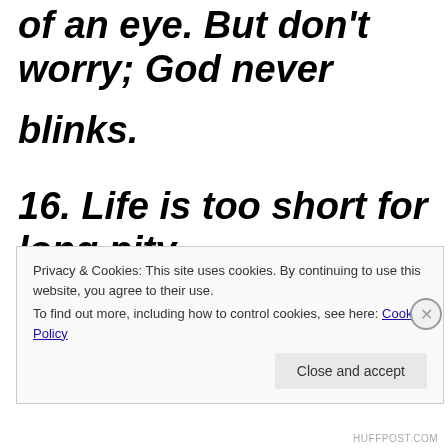of an eye. But don't worry; God never blinks.
16. Life is too short for long pity parties. Get busy living, or get busy
Privacy & Cookies: This site uses cookies. By continuing to use this website, you agree to their use.
To find out more, including how to control cookies, see here: Cookie Policy
Close and accept